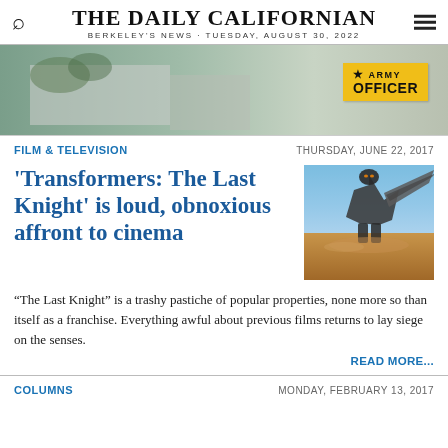THE DAILY CALIFORNIAN
BERKELEY'S NEWS · TUESDAY, AUGUST 30, 2022
[Figure (photo): Advertisement banner with Army Officer recruitment ad and background photo of vehicles/buildings]
FILM & TELEVISION
THURSDAY, JUNE 22, 2017
'Transformers: The Last Knight' is loud, obnoxious affront to cinema
[Figure (photo): Movie promotional image from Transformers: The Last Knight showing a large mechanical robot/transformer against a desert sky background]
“The Last Knight” is a trashy pastiche of popular properties, none more so than itself as a franchise. Everything awful about previous films returns to lay siege on the senses.
READ MORE...
COLUMNS
MONDAY, FEBRUARY 13, 2017